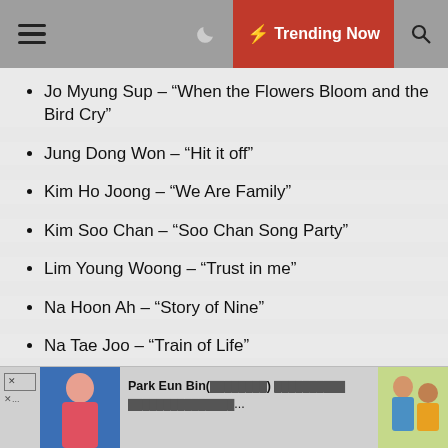Trending Now
Jo Myung Sup – “When the Flowers Bloom and the Bird Cry”
Jung Dong Won – “Hit it off”
Kim Ho Joong – “We Are Family”
Kim Soo Chan – “Soo Chan Song Party”
Lim Young Woong – “Trust in me”
Na Hoon Ah – “Story of Nine”
Na Tae Joo – “Train of Life”
Ryu Ji Kwang – “Line 5 Woman”
Song Ga In – “HwaRyuChoonMong”
Park Eun Bin(××××××××) ×××××××××× ×××××××××××××××...